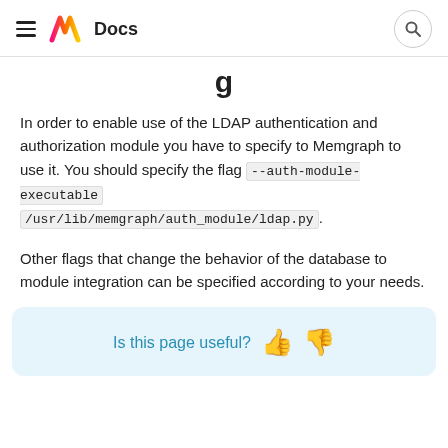≡ M Docs [search icon]
g
In order to enable use of the LDAP authentication and authorization module you have to specify to Memgraph to use it. You should specify the flag --auth-module-executable /usr/lib/memgraph/auth_module/ldap.py.
Other flags that change the behavior of the database to module integration can be specified according to your needs.
Is this page useful? 👍 👎